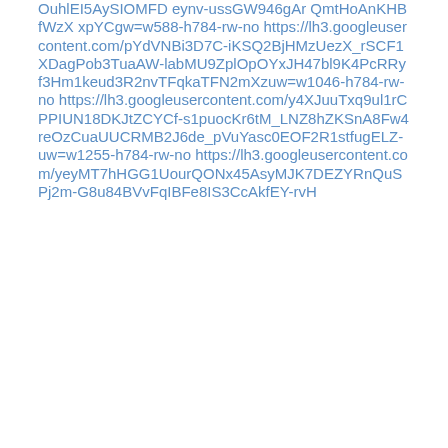OuhlEI5AySIOMFD eynv-ussGW946gAr QmtHoAnKHBfWzX xpYCgw=w588-h784-rw-no https://lh3.googleusercontent.com/pYdVNBi3D7C-iKSQ2BjHMzUezX_rSCF1XDagPob3TuaAW-labMU9ZplOpOYxJH47bl9K4PcRRyf3Hm1keud3R2nvTFqkaTFN2mXzuw=w1046-h784-rw-no https://lh3.googleusercontent.com/y4XJuuTxq9ul1rCPPIUN18DKJtZCYCf-s1puocKr6tM_LNZ8hZKSnA8Fw4reOzCuaUUCRMB2J6de_pVuYasc0EOF2R1stfugELZ-uw=w1255-h784-rw-no https://lh3.googleusercontent.com/yeyMT7hHGG1UourQONx45AsyMJK7DEZYRnQuSPj2m-G8u84BVvFqIBFe8IS3CcAkfEY-rvH